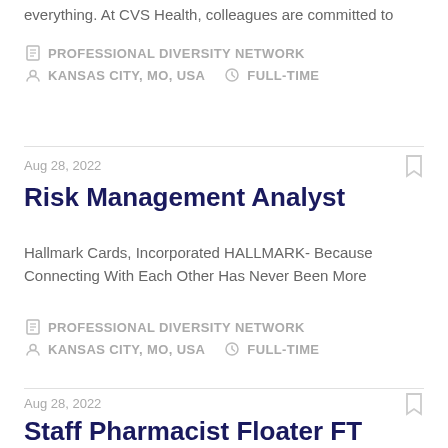everything. At CVS Health, colleagues are committed to
PROFESSIONAL DIVERSITY NETWORK
KANSAS CITY, MO, USA   FULL-TIME
Aug 28, 2022
Risk Management Analyst
Hallmark Cards, Incorporated HALLMARK- Because Connecting With Each Other Has Never Been More
PROFESSIONAL DIVERSITY NETWORK
KANSAS CITY, MO, USA   FULL-TIME
Aug 28, 2022
Staff Pharmacist Floater FT